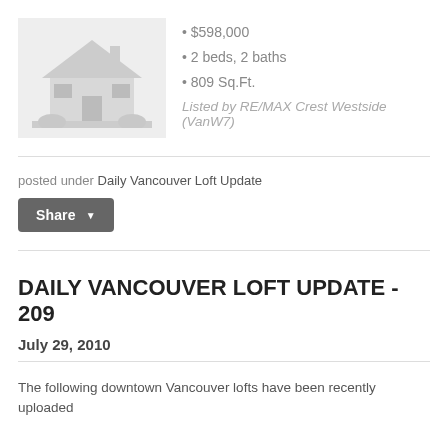[Figure (illustration): Placeholder house/home illustration in light gray]
$598,000
2 beds, 2 baths
809 Sq.Ft.
Listed by RE/MAX Crest Westside (VanW7)
posted under Daily Vancouver Loft Update
Share
DAILY VANCOUVER LOFT UPDATE - 209
July 29, 2010
The following downtown Vancouver lofts have been recently uploaded